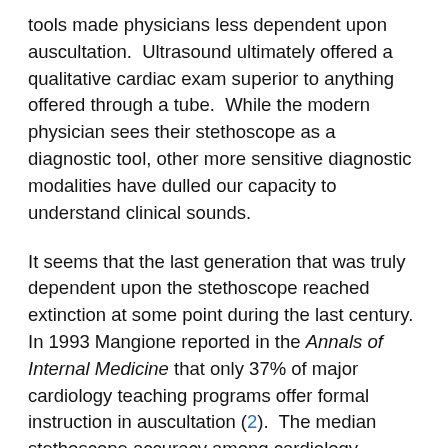tools made physicians less dependent upon auscultation.  Ultrasound ultimately offered a qualitative cardiac exam superior to anything offered through a tube.  While the modern physician sees their stethoscope as a diagnostic tool, other more sensitive diagnostic modalities have dulled our capacity to understand clinical sounds.
It seems that the last generation that was truly dependent upon the stethoscope reached extinction at some point during the last century.  In 1993 Mangione reported in the Annals of Internal Medicine that only 37% of major cardiology teaching programs offer formal instruction in auscultation (2).  The median stethoscope accuracy among cardiology trainees in that study was 22% and that of medical residents was 19%.  Perhaps most revealing was the fact that a medical resident's capacity to use a stethoscope was no better than that of the third year medical students.  Since Mangione's publication in 1997 it would appear that there has been an